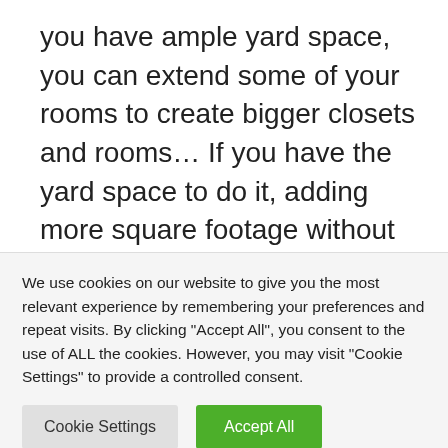you have ample yard space, you can extend some of your rooms to create bigger closets and rooms... If you have the yard space to do it, adding more square footage without taking away too much from your home exteriors, it will definitely play in your favor.
You may have your own ideas of the features you want to incorporate in your home when you're
We use cookies on our website to give you the most relevant experience by remembering your preferences and repeat visits. By clicking "Accept All", you consent to the use of ALL the cookies. However, you may visit "Cookie Settings" to provide a controlled consent.